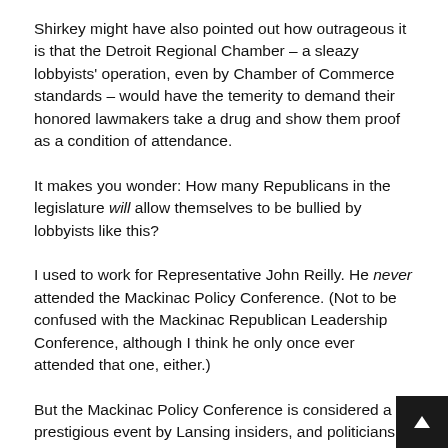Shirkey might have also pointed out how outrageous it is that the Detroit Regional Chamber – a sleazy lobbyists' operation, even by Chamber of Commerce standards – would have the temerity to demand their honored lawmakers take a drug and show them proof as a condition of attendance.
It makes you wonder: How many Republicans in the legislature will allow themselves to be bullied by lobbyists like this?
I used to work for Representative John Reilly. He never attended the Mackinac Policy Conference. (Not to be confused with the Mackinac Republican Leadership Conference, although I think he only once ever attended that one, either.)
But the Mackinac Policy Conference is considered a prestigious event by Lansing insiders, and politicians typically enjoy visiting Mackinac Island and partying on the lobbyists...